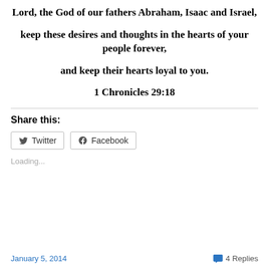Lord, the God of our fathers Abraham, Isaac and Israel, keep these desires and thoughts in the hearts of your people forever, and keep their hearts loyal to you.
1 Chronicles 29:18
Share this:
Loading...
January 5, 2014   4 Replies